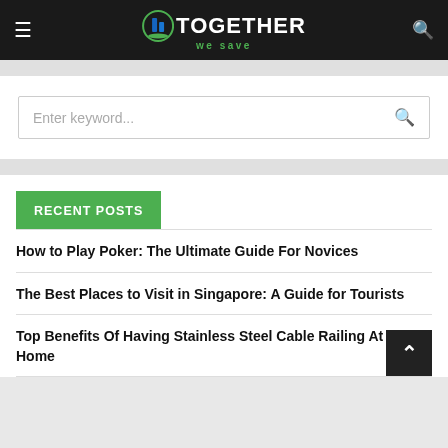TOGETHER we save
Enter keyword...
RECENT POSTS
How to Play Poker: The Ultimate Guide For Novices
The Best Places to Visit in Singapore: A Guide for Tourists
Top Benefits Of Having Stainless Steel Cable Railing At Your Home